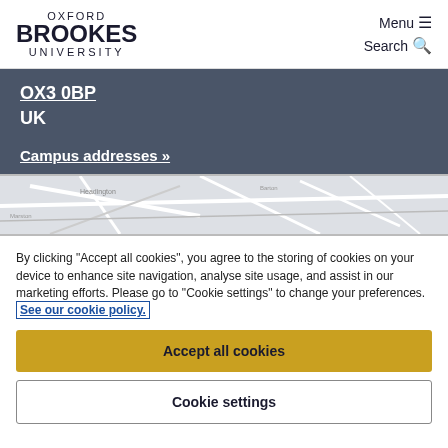OXFORD BROOKES UNIVERSITY | Menu ≡ | Search 🔍
OX3 0BP
UK
Campus addresses »
[Figure (map): A partial map showing streets near the Oxford Brookes University campus area]
By clicking "Accept all cookies", you agree to the storing of cookies on your device to enhance site navigation, analyse site usage, and assist in our marketing efforts. Please go to "Cookie settings" to change your preferences. See our cookie policy.
Accept all cookies
Cookie settings